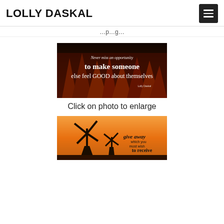LOLLY DASKAL
...p...g...
[Figure (photo): Inspirational quote image over red rock canyon: 'Never miss an opportunity to make someone else feel GOOD about themselves' - Lolly Daskal]
Click on photo to enlarge
[Figure (photo): Inspirational quote image with windmill silhouette at sunset: 'give away which you most wish to receive']